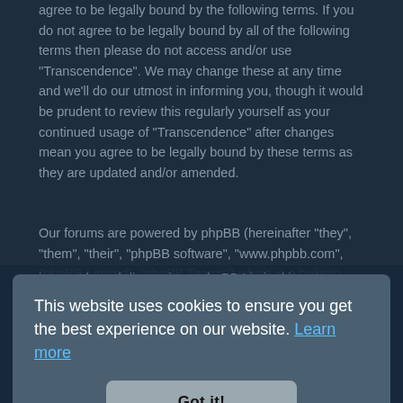agree to be legally bound by the following terms. If you do not agree to be legally bound by all of the following terms then please do not access and/or use "Transcendence". We may change these at any time and we'll do our utmost in informing you, though it would be prudent to review this regularly yourself as your continued usage of "Transcendence" after changes mean you agree to be legally bound by these terms as they are updated and/or amended.
Our forums are powered by phpBB (hereinafter "they", "them", "their", "phpBB software", "www.phpbb.com", "phpBB Limited", "phpBB Teams") which is a bulletin board solution released under the "GNU General Public License v2" (hereinafter "GPL") and can be downloaded from www.phpbb.com. The phpBB software only facilitates internet based discussions; phpBB Limited is not responsible for what we allow and/or disallow as permissible content and/or conduct. For further information about phpBB, please see: https://www.phpbb.com/.
You agree not to post any abusive, obscene, vulgar,
This website uses cookies to ensure you get the best experience on our website. Learn more
Got it!